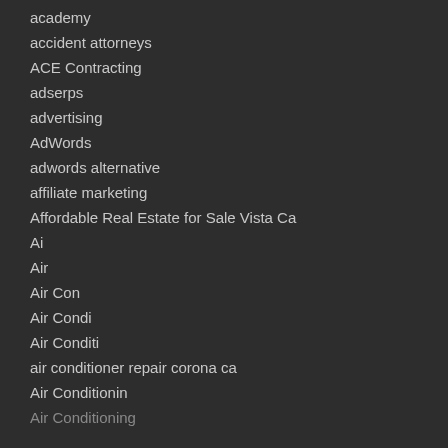academy
accident attorneys
ACE Contracting
adserps
advertising
AdWords
adwords alternative
affiliate marketing
Affordable Real Estate for Sale Vista Ca
Ai
Air
Air Con
Air Condi
Air Conditi
air conditioner repair corona ca
Air Conditionin
Air Conditioning